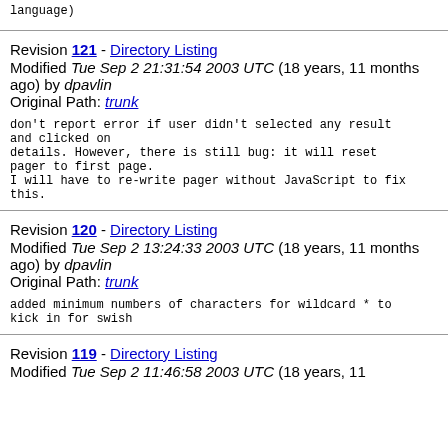language)
Revision 121 - Directory Listing
Modified Tue Sep 2 21:31:54 2003 UTC (18 years, 11 months ago) by dpavlin
Original Path: trunk
don't report error if user didn't selected any result and clicked on
details. However, there is still bug: it will reset pager to first page.
I will have to re-write pager without JavaScript to fix this.
Revision 120 - Directory Listing
Modified Tue Sep 2 13:24:33 2003 UTC (18 years, 11 months ago) by dpavlin
Original Path: trunk
added minimum numbers of characters for wildcard * to kick in for swish
Revision 119 - Directory Listing
Modified Tue Sep 2 11:46:58 2003 UTC (18 years, 11